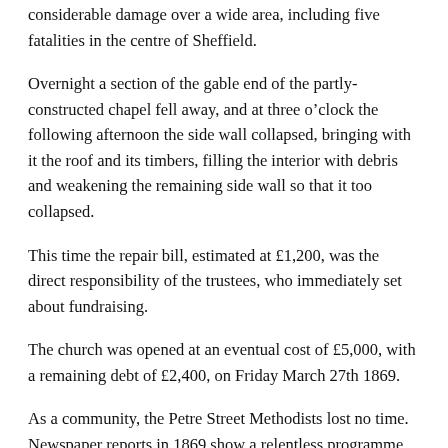considerable damage over a wide area, including five fatalities in the centre of Sheffield.
Overnight a section of the gable end of the partly-constructed chapel fell away, and at three o’clock the following afternoon the side wall collapsed, bringing with it the roof and its timbers, filling the interior with debris and weakening the remaining side wall so that it too collapsed.
This time the repair bill, estimated at £1,200, was the direct responsibility of the trustees, who immediately set about fundraising.
The church was opened at an eventual cost of £5,000, with a remaining debt of £2,400, on Friday March 27th 1869.
As a community, the Petre Street Methodists lost no time. Newspaper reports in 1869 show a relentless programme of events in addition to services – Band of Hope meetings, a